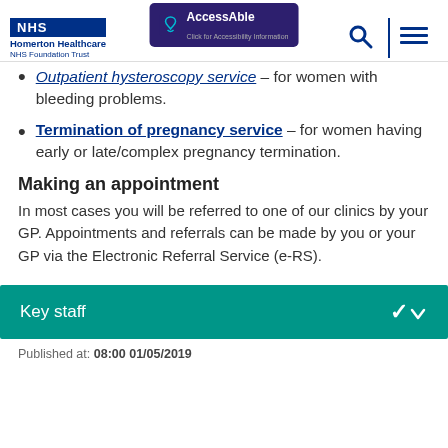NHS Homerton Healthcare NHS Foundation Trust | AccessAble | Search | Menu
Outpatient hysteroscopy service – for women with bleeding problems.
Termination of pregnancy service – for women having early or late/complex pregnancy termination.
Making an appointment
In most cases you will be referred to one of our clinics by your GP. Appointments and referrals can be made by you or your GP via the Electronic Referral Service (e-RS).
Key staff
Published at: 08:00 01/05/2019